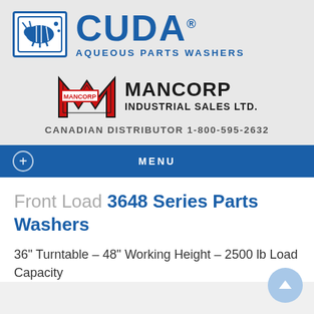[Figure (logo): CUDA Aqueous Parts Washers logo with fish icon in blue bordered box and large blue CUDA text with AQUEOUS PARTS WASHERS subtitle]
[Figure (logo): Mancorp Industrial Sales Ltd. logo with large M emblem in red and black, MANCORP text in red box, and company name in black bold text]
CANADIAN DISTRIBUTOR 1-800-595-2632
MENU
Front Load 3648 Series Parts Washers
36" Turntable – 48" Working Height – 2500 lb Load Capacity